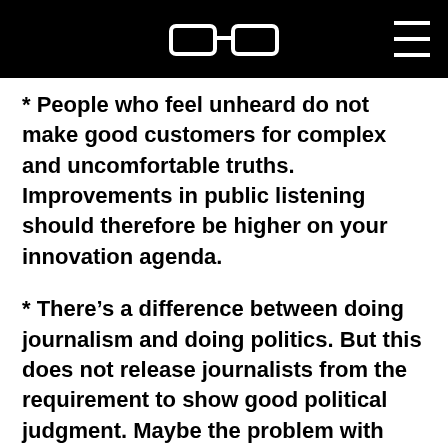[glasses icon] [hamburger menu]
* People who feel unheard do not make good customers for complex and uncomfortable truths. Improvements in public listening should therefore be higher on your innovation agenda.
* There's a difference between doing journalism and doing politics. But this does not release journalists from the requirement to show good political judgment. Maybe the problem with participating in welcome culture was not the sentiment, refugees welcome, but the illusion that it could ever be that simple. That was not good judgment.